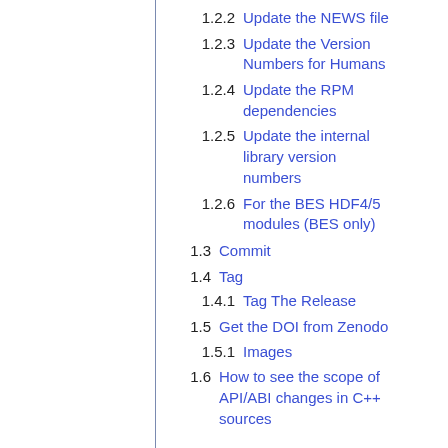1.2.2 Update the NEWS file
1.2.3 Update the Version Numbers for Humans
1.2.4 Update the RPM dependencies
1.2.5 Update the internal library version numbers
1.2.6 For the BES HDF4/5 modules (BES only)
1.3 Commit
1.4 Tag
1.4.1 Tag The Release
1.5 Get the DOI from Zenodo
1.5.1 Images
1.6 How to see the scope of API/ABI changes in C++ sources